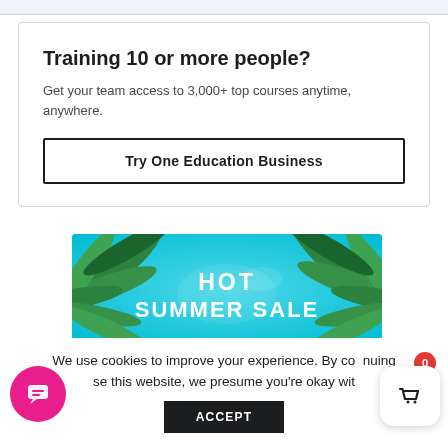Training 10 or more people?
Get your team access to 3,000+ top courses anytime, anywhere.
Try One Education Business
[Figure (illustration): HOT SUMMER SALE promotional banner with tropical palm leaves on a turquoise/teal background, bold white text reading HOT SUMMER SALE]
We use cookies to improve your experience. By continuing to use this website, we presume you're okay with
ACCEPT